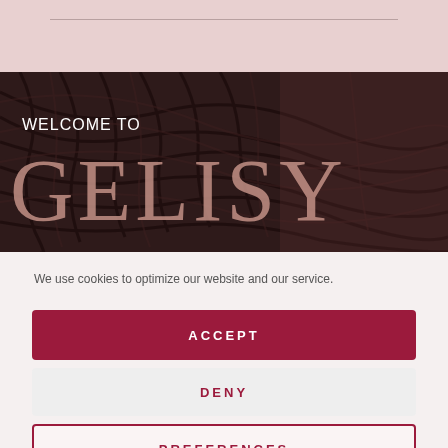[Figure (photo): Pink/blush header bar with a thin horizontal line]
[Figure (photo): Dark brown hair texture hero image with 'WELCOME TO GELISY' text overlay]
We use cookies to optimize our website and our service.
ACCEPT
DENY
PREFERENCES
Cookie Policy